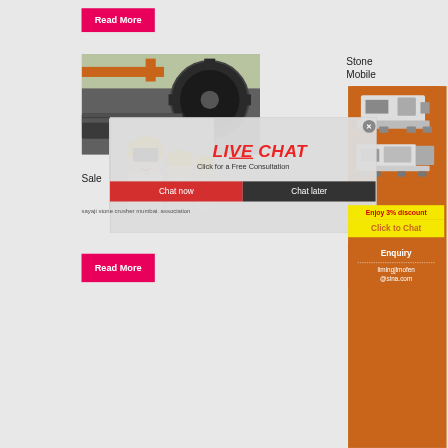[Figure (other): Pink/red Read More button at top]
[Figure (photo): Industrial machinery - large gears and metal cylinders in a factory setting]
Stone
Mobile
[Figure (photo): Orange sidebar with two stone crusher machine images]
Sale
[Figure (photo): Live Chat overlay with workers in yellow hard hats - LIVE CHAT, Click for a Free Consultation, Chat now / Chat later buttons]
sayaji stone crusher mumbai. association
Enjoy 3% discount
Click to Chat
[Figure (other): Pink/red Read More button at bottom]
Enquiry
limingjlmofen
@sina.com